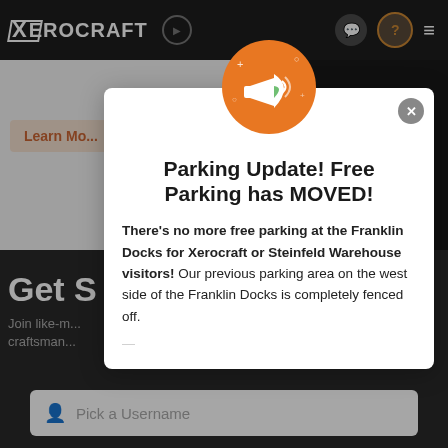[Figure (screenshot): Xerocraft website navigation bar with logo, play button, chat icon, avatar icon, and hamburger menu on dark background]
[Figure (screenshot): Background website content showing 'Learn More' button and 'Get Started' section with dark overlay, plus two input fields for Username and Email]
[Figure (infographic): Modal popup dialog with megaphone/announcement icon on orange circle background]
Parking Update! Free Parking has MOVED!
There's no more free parking at the Franklin Docks for Xerocraft or Steinfeld Warehouse visitors! Our previous parking area on the west side of the Franklin Docks is completely fenced off.